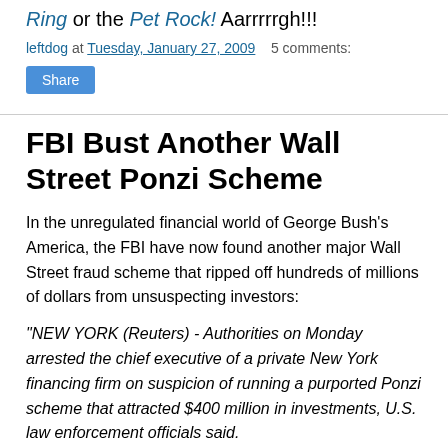Ring or the Pet Rock! Aarrrrrgh!!!
leftdog at Tuesday, January 27, 2009   5 comments:
Share
FBI Bust Another Wall Street Ponzi Scheme
In the unregulated financial world of George Bush's America, the FBI have now found another major Wall Street fraud scheme that ripped off hundreds of millions of dollars from unsuspecting investors:
"NEW YORK (Reuters) - Authorities on Monday arrested the chief executive of a private New York financing firm on suspicion of running a purported Ponzi scheme that attracted $400 million in investments, U.S. law enforcement officials said.
Nicholas Cosmo, head of Agape World Inc, on New York's